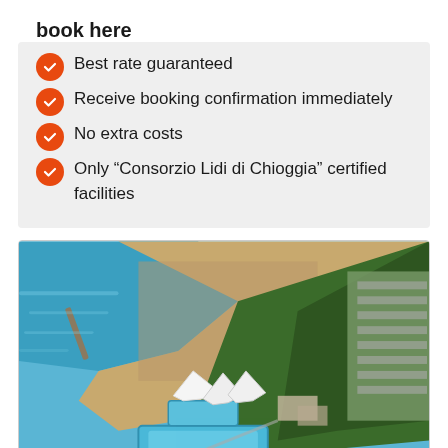book here
Best rate guaranteed
Receive booking confirmation immediately
No extra costs
Only “Consorzio Lidi di Chioggia” certified facilities
[Figure (photo): Aerial view of a beach resort with sandy beach along blue sea on the left, dense green forest/campsite in the middle and right, a large swimming pool and white tent structures visible, and rows of parked vehicles on the right side.]